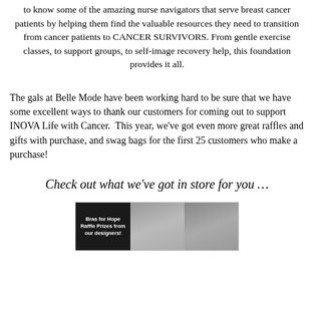to know some of the amazing nurse navigators that serve breast cancer patients by helping them find the valuable resources they need to transition from cancer patients to CANCER SURVIVORS. From gentle exercise classes, to support groups, to self-image recovery help, this foundation provides it all.
The gals at Belle Mode have been working hard to be sure that we have some excellent ways to thank our customers for coming out to support INOVA Life with Cancer. This year, we've got even more great raffles and gifts with purchase, and swag bags for the first 25 customers who make a purchase!
Check out what we've got in store for you …
[Figure (photo): Three-panel image: left panel is a dark box with text 'Bras for Hope Raffle Prizes from our designers!', center and right panels show photos of women (dark-haired models).]